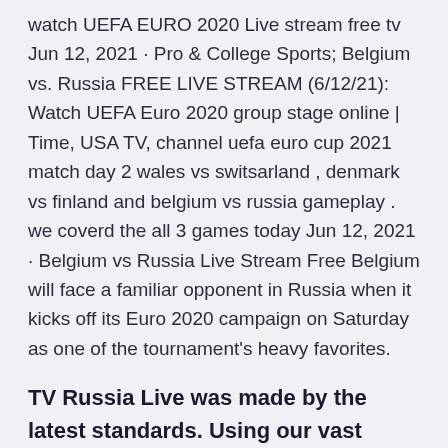watch UEFA EURO 2020 Live stream free tv Jun 12, 2021 · Pro & College Sports; Belgium vs. Russia FREE LIVE STREAM (6/12/21): Watch UEFA Euro 2020 group stage online | Time, USA TV, channel uefa euro cup 2021 match day 2 wales vs switsarland , denmark vs finland and belgium vs russia gameplay . we coverd the all 3 games today Jun 12, 2021 · Belgium vs Russia Live Stream Free Belgium will face a familiar opponent in Russia when it kicks off its Euro 2020 campaign on Saturday as one of the tournament's heavy favorites.
TV Russia Live was made by the latest standards. Using our vast experience as well as combining multiple worldwide platforms, taking only the best features of each, we create free, open source...